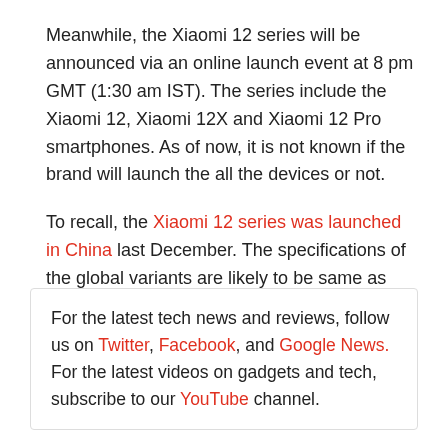Meanwhile, the Xiaomi 12 series will be announced via an online launch event at 8 pm GMT (1:30 am IST). The series include the Xiaomi 12, Xiaomi 12X and Xiaomi 12 Pro smartphones. As of now, it is not known if the brand will launch the all the devices or not.
To recall, the Xiaomi 12 series was launched in China last December. The specifications of the global variants are likely to be same as Chinese variants.
For the latest tech news and reviews, follow us on Twitter, Facebook, and Google News. For the latest videos on gadgets and tech, subscribe to our YouTube channel.